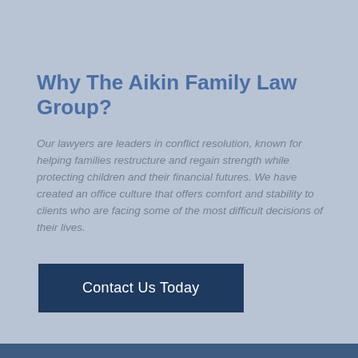Why The Aikin Family Law Group?
Our lawyers are leaders in conflict resolution, known for helping families restructure and regain strength while protecting children and their financial futures. We have created an office culture that offers comfort and stability to clients who are facing some of the most difficult decisions of their lives.
Contact Us Today